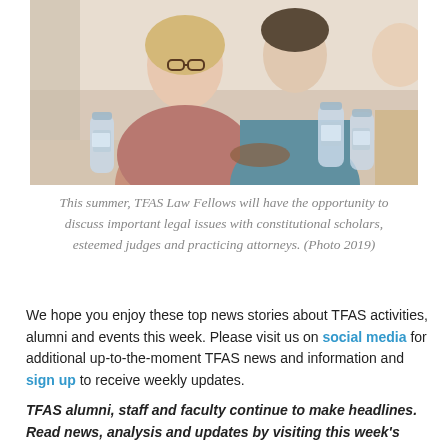[Figure (photo): Photo of people seated at a table, including a woman with blonde hair and glasses wearing a mauve top, and a man in a teal shirt. Water bottles are visible on the table.]
This summer, TFAS Law Fellows will have the opportunity to discuss important legal issues with constitutional scholars, esteemed judges and practicing attorneys. (Photo 2019)
We hope you enjoy these top news stories about TFAS activities, alumni and events this week. Please visit us on social media for additional up-to-the-moment TFAS news and information and sign up to receive weekly updates.
TFAS alumni, staff and faculty continue to make headlines. Read news, analysis and updates by visiting this week's